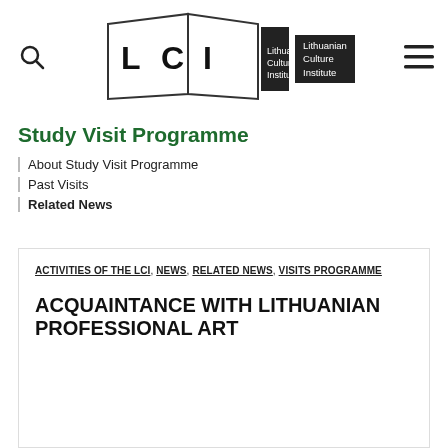[Figure (logo): Lithuanian Culture Institute (LCI) logo — folded book shape with LCI letters and text 'Lithuanian Culture Institute']
Study Visit Programme
About Study Visit Programme
Past Visits
Related News
ACTIVITIES OF THE LCI, NEWS, RELATED NEWS, VISITS PROGRAMME
ACQUAINTANCE WITH LITHUANIAN PROFESSIONAL ART